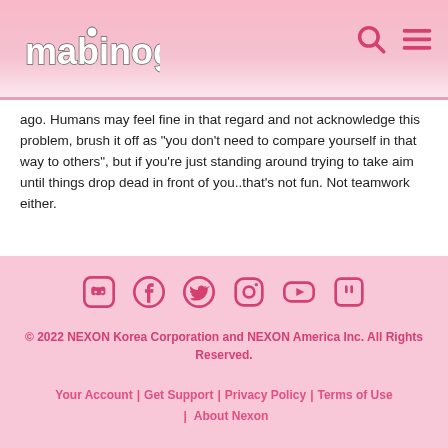Mabinogi
ago. Humans may feel fine in that regard and not acknowledge this problem, brush it off as "you don't need to compare yourself in that way to others", but if you're just standing around trying to take aim until things drop dead in front of you..that's not fun. Not teamwork either.
[Figure (photo): Avatar/profile picture of a dark-haired character with a badge]
< 1 2 3 4 5 >
[Figure (infographic): Social media icons: Discord, Facebook, Twitter, Instagram, YouTube, Twitch]
© 2022 NEXON Korea Corporation and NEXON America Inc. All Rights Reserved. | Your Account | Get Support | Privacy Policy | Terms of Use | About Nexon